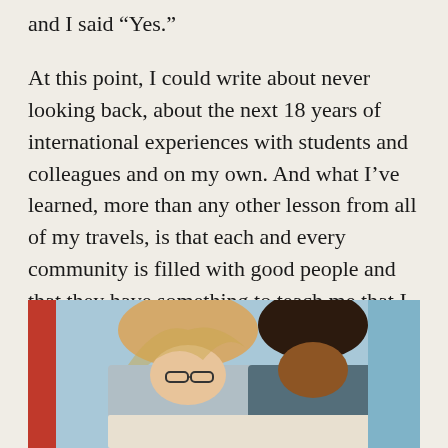and I said “Yes.”

At this point, I could write about never looking back, about the next 18 years of international experiences with students and colleagues and on my own. And what I’ve learned, more than any other lesson from all of my travels, is that each and every community is filled with good people and that they have something to teach me that I could never guess.
[Figure (photo): Two students (one with blonde hair, one with dark hair) sitting together and looking down at something, possibly studying. A blue background and a red element visible at left edge.]